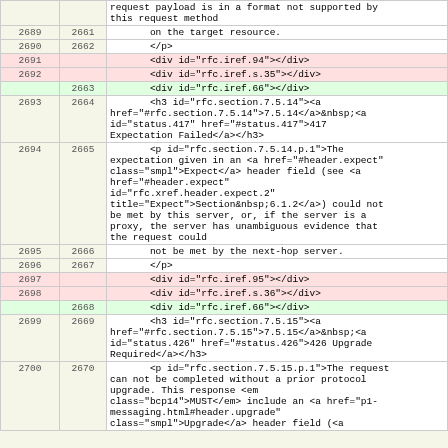|  |  | Content |
| --- | --- | --- |
|  |  | request payload is in a format not supported by this request method |
| 2689 | 2661 | on the target resource. |
| 2690 | 2662 | </p> |
| 2691 |  | <div id="rfc.iref.94"></div> |
| 2692 |  | <div id="rfc.iref.s.35"></div> |
|  | 2663 | <div id="rfc.iref.66"></div> |
| 2693 | 2664 | <h3 id="rfc.section.7.5.14"><a href="#rfc.section.7.5.14">7.5.14</a>&nbsp;<a id="status.417" href="#status.417">417 Expectation Failed</a></h3> |
| 2694 | 2665 | <p id="rfc.section.7.5.14.p.1">The expectation given in an <a href="#header.expect" class="smpl">Expect</a> header field (see <a href="#header.expect" id="rfc.xref.header.expect.2" title="Expect">Section&nbsp;6.1.2</a>) could not be met by this server, or, if the server is a proxy, the server has unambiguous evidence that the request could |
| 2695 | 2666 | not be met by the next-hop server. |
| 2696 | 2667 | </p> |
| 2697 |  | <div id="rfc.iref.95"></div> |
| 2698 |  | <div id="rfc.iref.s.36"></div> |
|  | 2668 | <div id="rfc.iref.66"></div> |
| 2699 | 2669 | <h3 id="rfc.section.7.5.15"><a href="#rfc.section.7.5.15">7.5.15</a>&nbsp;<a id="status.426" href="#status.426">426 Upgrade Required</a></h3> |
| 2700 | 2670 | <p id="rfc.section.7.5.15.p.1">The request can not be completed without a prior protocol upgrade. This response <em class="bcp14">MUST</em> include an <a href="p1-messaging.html#header.upgrade" class="smpl">Upgrade</a> header field (<a |